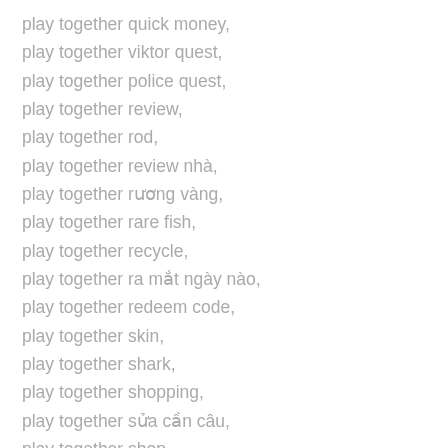play together quick money,
play together viktor quest,
play together police quest,
play together review,
play together rod,
play together review nhà,
play together rương vàng,
play together rare fish,
play together recycle,
play together ra mắt ngày nào,
play together redeem code,
play together skin,
play together shark,
play together shopping,
play together sửa cần câu,
play together shop,